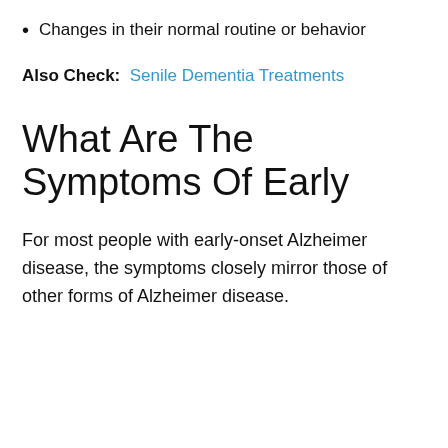Changes in their normal routine or behavior
Also Check: Senile Dementia Treatments
What Are The Symptoms Of Early
For most people with early-onset Alzheimer disease, the symptoms closely mirror those of other forms of Alzheimer disease.